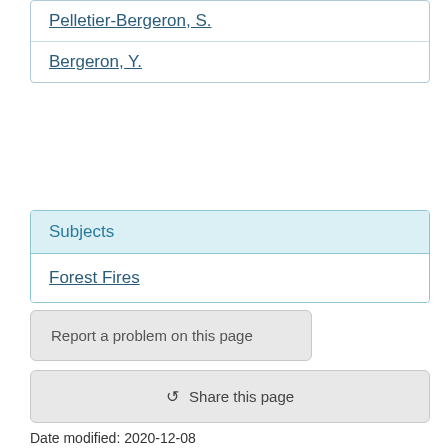Pelletier-Bergeron, S.
Bergeron, Y.
Subjects
Forest Fires
Report a problem on this page
Share this page
Date modified: 2020-12-08